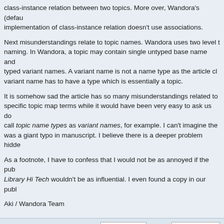class-instance relation between two topics. More over, Wandora's (default) implementation of class-instance relation doesn't use associations.
Next misunderstandings relate to topic names. Wandora uses two level topic naming. In Wandora, a topic may contain single untyped base name and typed variant names. A variant name is not a name type as the article claims, a variant name has to have a type which is essentially a topic.
It is somehow sad the article has so many misunderstandings related to Wandora specific topic map terms while it would have been very easy to ask us do. Authors call topic name types as variant names, for example. I can't imagine the problem was a giant typo in manuscript. I believe there is a deeper problem hidden.
As a footnote, I have to confess that I would not be as annoyed if the publisher of Library Hi Tech wouldn't be as influential. I even found a copy in our publ…
Aki / Wandora Team
Display posts from previous: All posts  Sort by Post time
POSTREPLY
Return to Use cases
Jump to:
WHO IS ONLINE